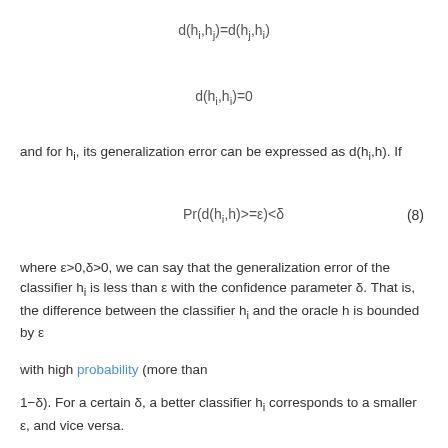and for h_i, its generalization error can be expressed as d(h_i,h). If
where ε>0,δ>0, we can say that the generalization error of the classifier h_i is less than ε with the confidence parameter δ. That is, the difference between the classifier h_i and the oracle h is bounded by ε
with high probability (more than
1−δ). For a certain δ, a better classifier h_i corresponds to a smaller ε, and vice versa.